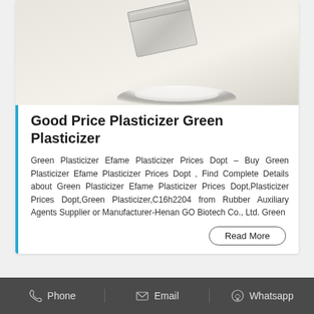[Figure (photo): A small rectangular container/bottle spilling white powder onto a surface, photographed on a light background.]
Good Price Plasticizer Green Plasticizer
Green Plasticizer Efame Plasticizer Prices Dopt – Buy Green Plasticizer Efame Plasticizer Prices Dopt , Find Complete Details about Green Plasticizer Efame Plasticizer Prices Dopt,Plasticizer Prices Dopt,Green Plasticizer,C16h2204 from Rubber Auxiliary Agents Supplier or Manufacturer-Henan GO Biotech Co., Ltd. Green
Phone   Email   Whatsapp